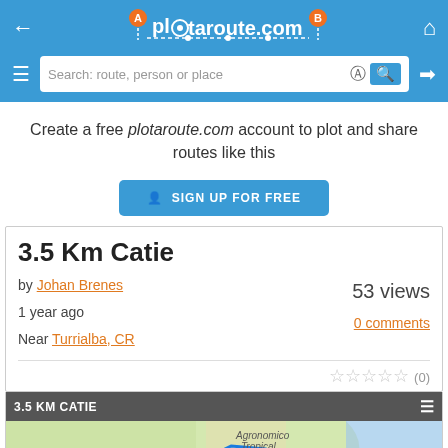plotaroute.com
Create a free plotaroute.com account to plot and share routes like this
SIGN UP FOR FREE
3.5 Km Catie
by Johan Brenes   53 views
1 year ago   0 comments
Near Turrialba, CR
[Figure (screenshot): Map thumbnail showing route labeled 3.5 KM CATIE near Turrialba, CR with a blue route path on a green/beige map background]